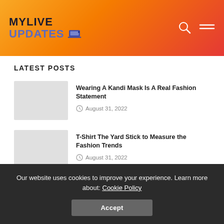MYLIVE UPDATES
LATEST POSTS
Wearing A Kandi Mask Is A Real Fashion Statement
August 31, 2022
T-Shirt The Yard Stick to Measure the Fashion Trends
August 31, 2022
How to Shop Smartly for Fashion in Paris
Our website uses cookies to improve your experience. Learn more about: Cookie Policy
Accept